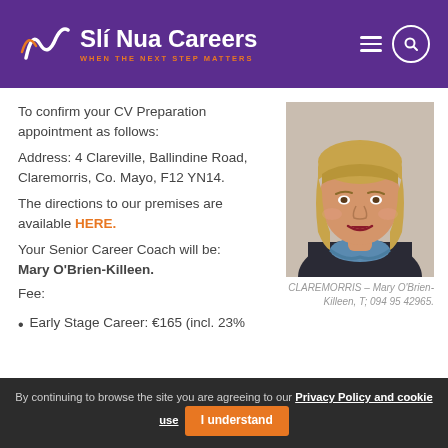Slí Nua Careers – WHEN THE NEXT STEP MATTERS
To confirm your CV Preparation appointment as follows:
Address: 4 Clareville, Ballindine Road, Claremorris, Co. Mayo, F12 YN14.
The directions to our premises are available HERE.
Your Senior Career Coach will be: Mary O'Brien-Killeen.
Fee:
[Figure (photo): Portrait photo of Mary O'Brien-Killeen, a woman with blonde hair and a blue scarf]
CLAREMORRIS – Mary O'Brien-Killeen, T; 094 95 42965.
Early Stage Career: €165 (incl. 23%
By continuing to browse the site you are agreeing to our Privacy Policy and cookie use  I understand